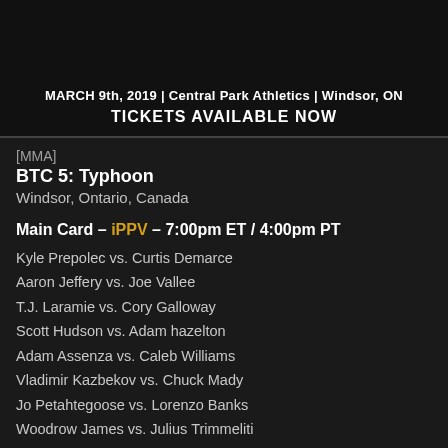[Figure (photo): Event promotional banner showing fighters with text: MARCH 9th, 2019 | Central Park Athletics | Windsor, ON and TICKETS AVAILABLE NOW]
[MMA]
BTC 5: Typhoon
Windsor, Ontario, Canada
Main Card – iPPV – 7:00pm ET / 4:00pm PT
Kyle Prepolec vs. Curtis Demarce
Aaron Jeffery vs. Joe Vallee
T.J. Laramie vs. Cory Galloway
Scott Hudson vs. Adam hazelton
Adam Assenza vs. Caleb Williams
Vladimir Kazbekov vs. Chuck Mady
Jo Petahtegoose vs. Lorenzo Banks
Woodrow James vs. Julius Trimmeliti
Matt Speciale vs. Erick Lora
Kris Allard vs. Adam Gladue